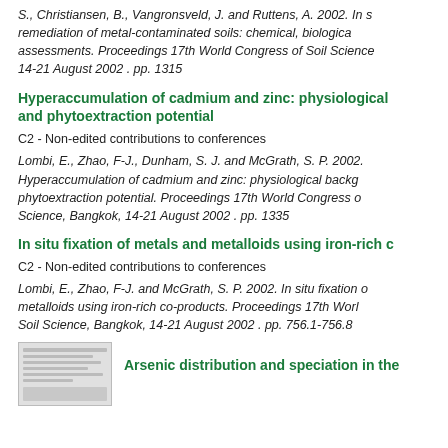S., Christiansen, B., Vangronsveld, J. and Ruttens, A. 2002. In s remediation of metal-contaminated soils: chemical, biological assessments. Proceedings 17th World Congress of Soil Science 14-21 August 2002 . pp. 1315
Hyperaccumulation of cadmium and zinc: physiological and phytoextraction potential
C2 - Non-edited contributions to conferences
Lombi, E., Zhao, F-J., Dunham, S. J. and McGrath, S. P. 2002. Hyperaccumulation of cadmium and zinc: physiological backg phytoextraction potential. Proceedings 17th World Congress o Science, Bangkok, 14-21 August 2002 . pp. 1335
In situ fixation of metals and metalloids using iron-rich c
C2 - Non-edited contributions to conferences
Lombi, E., Zhao, F-J. and McGrath, S. P. 2002. In situ fixation o metalloids using iron-rich co-products. Proceedings 17th Worl Soil Science, Bangkok, 14-21 August 2002 . pp. 756.1-756.8
Arsenic distribution and speciation in the